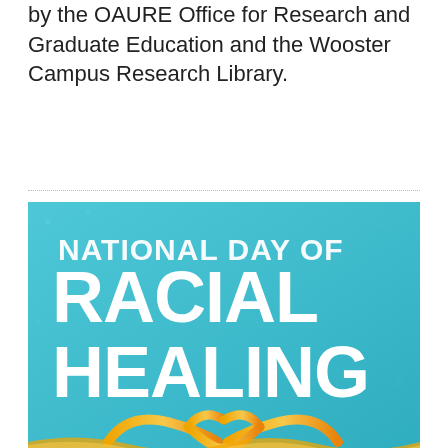by the OAURE Office for Research and Graduate Education and the Wooster Campus Research Library.
[Figure (illustration): Promotional graphic for National Day of Racial Healing. Teal/blue background with large white bold text reading 'NATIONAL DAY OF RACIAL HEALING'. At the bottom, a decorative gold/orange ribbon forms a heart shape.]